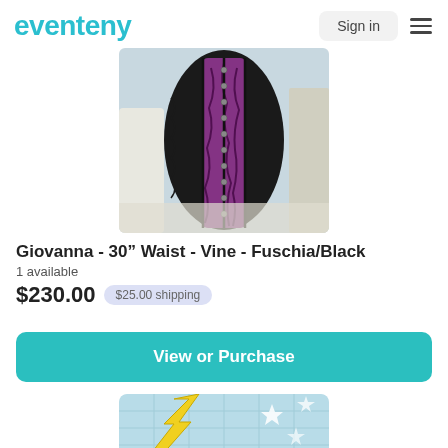eventeny | Sign in
[Figure (photo): Photo of a purple and black corset (Giovanna - 30 inch Waist - Vine - Fuschia/Black) displayed on a mannequin, showing detailed floral vine embroidery on purple fabric with black satin boning channels and metal studs.]
Giovanna - 30” Waist - Vine - Fuschia/Black
1 available
$230.00  $25.00 shipping
View or Purchase
[Figure (illustration): Partial view of a second product listing showing a light blue grid background with a yellow arrow/lightning bolt shape and white star shapes, partially cut off at the bottom of the page.]